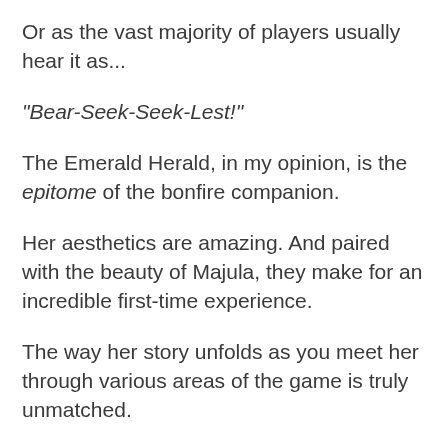Or as the vast majority of players usually hear it as...
“Bear-Seek-Seek-Lest!”
The Emerald Herald, in my opinion, is the epitome of the bonfire companion.
Her aesthetics are amazing. And paired with the beauty of Majula, they make for an incredible first-time experience.
The way her story unfolds as you meet her through various areas of the game is truly unmatched.